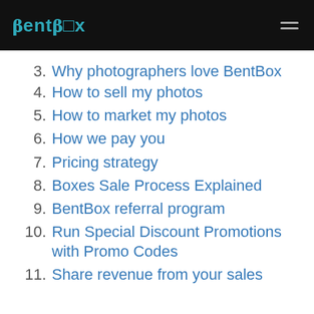BentBox logo and navigation menu
3. Why photographers love BentBox
4. How to sell my photos
5. How to market my photos
6. How we pay you
7. Pricing strategy
8. Boxes Sale Process Explained
9. BentBox referral program
10. Run Special Discount Promotions with Promo Codes
11. Share revenue from your sales